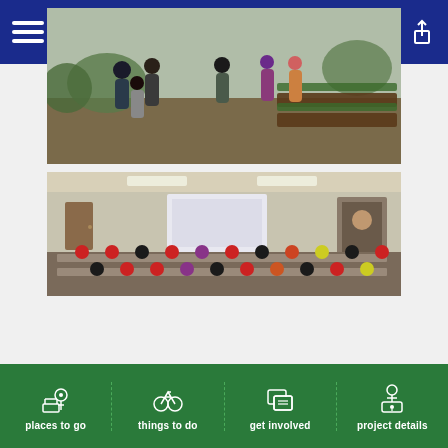Atlanta BeltLine
[Figure (photo): Group of people standing outdoors in a community garden with raised garden beds visible on the right side]
[Figure (photo): Indoor meeting room with audience seated at tables watching a presentation projected on a screen]
places to go | things to do | get involved | project details